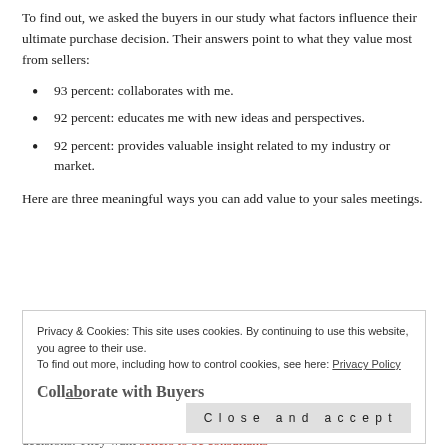To find out, we asked the buyers in our study what factors influence their ultimate purchase decision. Their answers point to what they value most from sellers:
93 percent: collaborates with me.
92 percent: educates me with new ideas and perspectives.
92 percent: provides valuable insight related to my industry or market.
Here are three meaningful ways you can add value to your sales meetings.
Privacy & Cookies: This site uses cookies. By continuing to use this website, you agree to their use. To find out more, including how to control cookies, see here: Privacy Policy
Collaborate with Buyers
Buyers want sellers who will work with them and help them make better decisions. They want sellers to be consultants